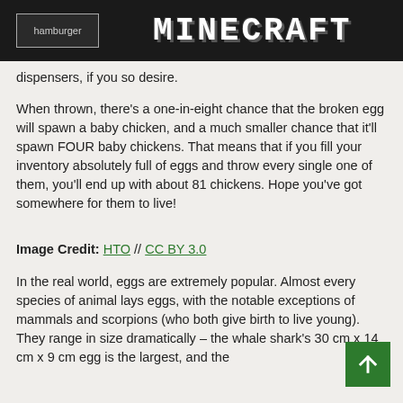hamburger | MINECRAFT
dispensers, if you so desire.
When thrown, there’s a one-in-eight chance that the broken egg will spawn a baby chicken, and a much smaller chance that it’ll spawn FOUR baby chickens. That means that if you fill your inventory absolutely full of eggs and throw every single one of them, you’ll end up with about 81 chickens. Hope you’ve got somewhere for them to live!
Image Credit: HTO // CC BY 3.0
In the real world, eggs are extremely popular. Almost every species of animal lays eggs, with the notable exceptions of mammals and scorpions (who both give birth to live young). They range in size dramatically – the whale shark’s 30 cm x 14 cm x 9 cm egg is the largest, and the